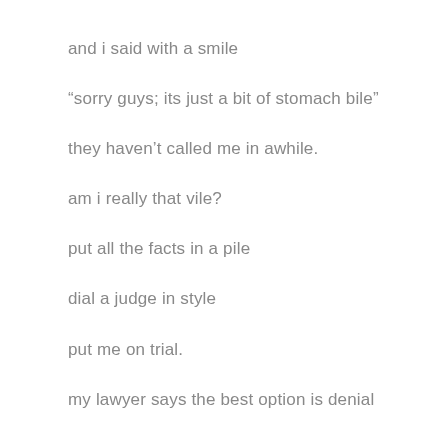and i said with a smile
“sorry guys; its just a bit of stomach bile”
they haven’t called me in awhile.
am i really that vile?
put all the facts in a pile
dial a judge in style
put me on trial.
my lawyer says the best option is denial